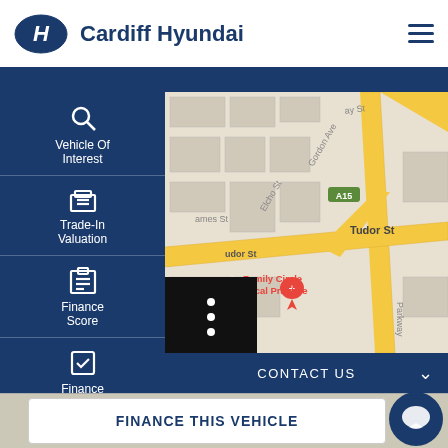Cardiff Hyundai
[Figure (map): Google Maps screenshot showing Cardiff area with streets including Gordon Ave, Tudor St, Elcho St, James St, A15 road marker, and a pin for Family Circle Medical Practice. Parkway street visible on right side.]
Vehicle Of Interest
Trade-In Valuation
Finance Score
Finance Enquiry
Book A Test Drive
CONTACT US
FINANCE THIS VEHICLE